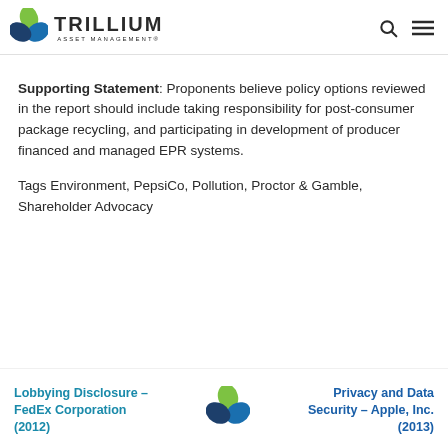Trillium Asset Management
Supporting Statement: Proponents believe policy options reviewed in the report should include taking responsibility for post-consumer package recycling, and participating in development of producer financed and managed EPR systems.
Tags Environment, PepsiCo, Pollution, Proctor & Gamble, Shareholder Advocacy
Lobbying Disclosure – FedEx Corporation (2012)
Privacy and Data Security – Apple, Inc. (2013)